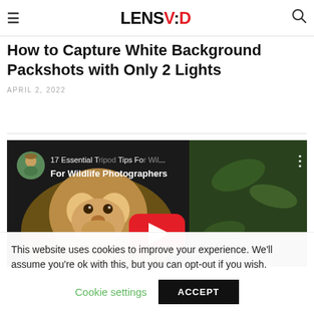LENSVID
How to Capture White Background Packshots with Only 2 Lights
APRIL 2, 2022
[Figure (screenshot): YouTube video thumbnail showing '17 Essential Tripod Tips For Wildlife Photographers' with a monkey in the foreground, a red YouTube play button, and a circular avatar of a man in the top left corner.]
This website uses cookies to improve your experience. We'll assume you're ok with this, but you can opt-out if you wish.
Cookie settings   ACCEPT